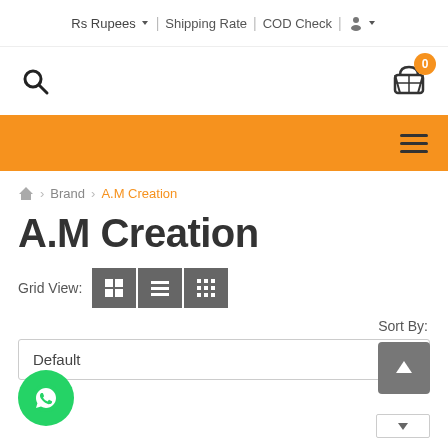Rs Rupees  |  Shipping Rate  |  COD Check
[Figure (screenshot): Search icon (magnifying glass) on left, shopping cart icon with orange badge showing 0 on right]
[Figure (screenshot): Orange navigation bar with hamburger menu icon on the right]
Home > Brand > A.M Creation
A.M Creation
Grid View: [2-grid] [list] [4-grid]
Sort By:
Default